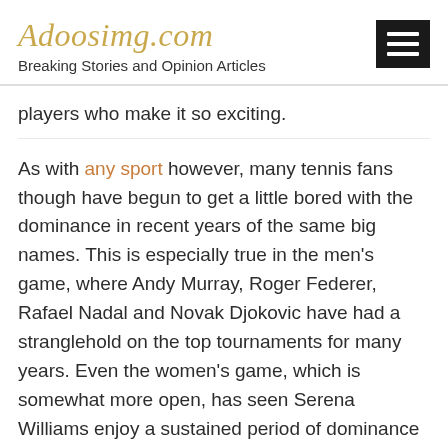Adoosimg.com
Breaking Stories and Opinion Articles
players who make it so exciting.
As with any sport however, many tennis fans though have begun to get a little bored with the dominance in recent years of the same big names. This is especially true in the men's game, where Andy Murray, Roger Federer, Rafael Nadal and Novak Djokovic have had a stranglehold on the top tournaments for many years. Even the women's game, which is somewhat more open, has seen Serena Williams enjoy a sustained period of dominance in past years.